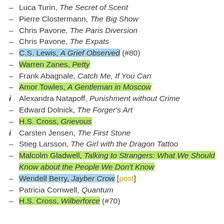– Luca Turin, The Secret of Scent
– Pierre Clostermann, The Big Show
– Chris Pavone, The Paris Diversion
– Chris Pavone, The Expats
– C.S. Lewis, A Grief Observed (#80)
– Warren Zanes, Petty
– Frank Abagnale, Catch Me, If You Can
– Amor Towles, A Gentleman in Moscow
i Alexandra Natapoff, Punishment without Crime
– Edward Dolnick, The Forger's Art
– H.S. Cross, Grievous
i Carsten Jensen, The First Stone
– Stieg Larsson, The Girl with the Dragon Tattoo
– Malcolm Gladwell, Talking to Strangers: What We Should Know about the People We Don't Know
– Wendell Berry, Jayber Crow [post]
– Patricia Cornwell, Quantum
– H.S. Cross, Wilberforce (#70)